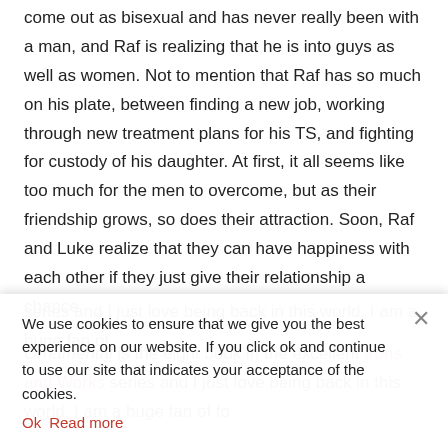come out as bisexual and has never really been with a man, and Raf is realizing that he is into guys as well as women. Not to mention that Raf has so much on his plate, between finding a new job, working through new treatment plans for his TS, and fighting for custody of his daughter. At first, it all seems like too much for the men to overcome, but as their friendship grows, so does their attraction. Soon, Raf and Luke realize that they can have happiness with each other if they just give their relationship a chance.
Ornamental is the eight book in the excellent Irons and Works series and I just love being back in this world. I am a huge fan of...
We use cookies to ensure that we give you the best experience on our website. If you click ok and continue to use our site that indicates your acceptance of the cookies.